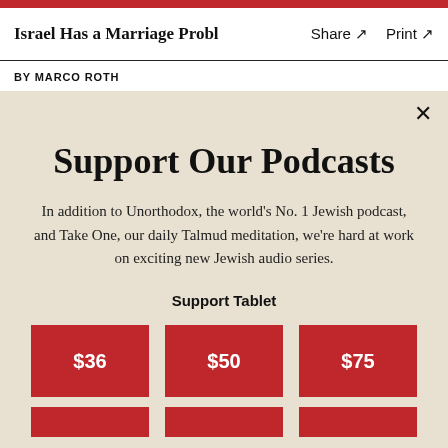Israel Has a Marriage Proble   Share ↗   Print ↗
BY MARCO ROTH
Support Our Podcasts
In addition to Unorthodox, the world's No. 1 Jewish podcast, and Take One, our daily Talmud meditation, we're hard at work on exciting new Jewish audio series.
Support Tablet
[Figure (other): Three red donation buttons showing $36, $50, $75]
[Figure (other): Three red donation buttons (partially visible at bottom)]